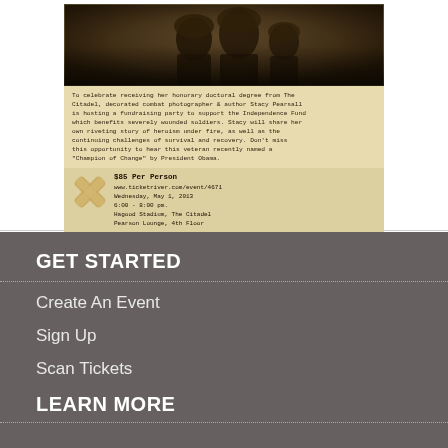[Figure (photo): Fundraising event flyer with military photo at top, event details text, and bandage/X decoration. Event for Stacy Pearsall at The Citadel, $85 per person, Wednesday May 1 2013, 6:00-8:00pm, Hagood Stadium, Pearson Lounge 4th Floor.]
GET STARTED
Create An Event
Sign Up
Scan Tickets
LEARN MORE